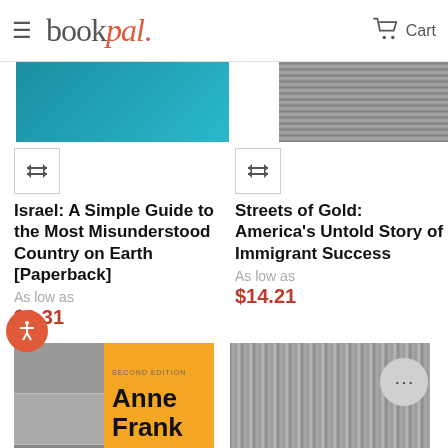bookpal. Cart
[Figure (photo): Partial view of two book covers at top of page: left is a blue cover, right is a black and white photo cover]
[Figure (illustration): Compare/filter icon button on left side]
[Figure (illustration): Compare/filter icon button on right side]
Israel: A Simple Guide to the Most Misunderstood Country on Earth [Paperback]
As low as
$9.31
Streets of Gold: America's Untold Story of Immigrant Success
As low as
$14.21
[Figure (photo): Anne Frank book cover — left side black and white portrait photos, right side orange with bold text 'Anne Frank' and a signature]
[Figure (photo): Partial view of a black and white photo book cover showing people, with gold text 'A GOOD' at the bottom]